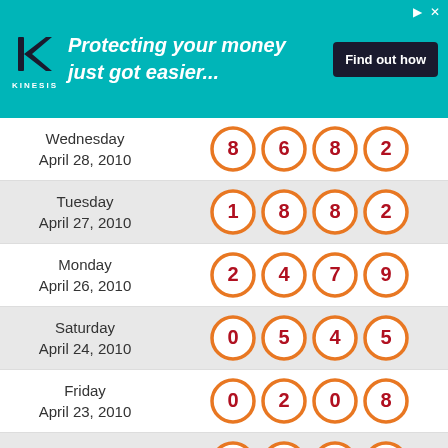[Figure (infographic): Kinesis advertisement banner: teal background with Kinesis logo, text 'Protecting your money just got easier...' and a dark 'Find out how' button]
| Date | Numbers |
| --- | --- |
| Wednesday April 28, 2010 | 8 6 8 2 |
| Tuesday April 27, 2010 | 1 8 8 2 |
| Monday April 26, 2010 | 2 4 7 9 |
| Saturday April 24, 2010 | 0 5 4 5 |
| Friday April 23, 2010 | 0 2 0 8 |
| Thursday April 22, 2010 | 2 7 1 3 |
| Wednesday | 6 0 0 7 |